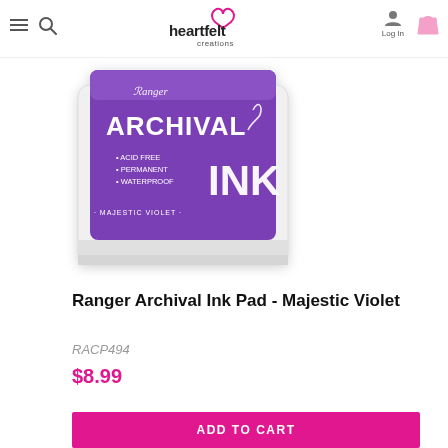Heartfelt Creations - navigation bar with hamburger menu, search, logo, log in, and cart
[Figure (photo): Ranger Archival Ink Pad in Majestic Violet color - a square purple ink pad with white Ranger Archival Ink logo text on a white tray]
Ranger Archival Ink Pad - Majestic Violet
RACP494
$8.99
ADD TO CART